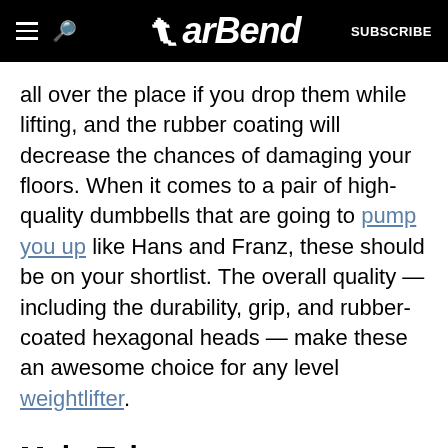BarBend — SUBSCRIBE
all over the place if you drop them while lifting, and the rubber coating will decrease the chances of damaging your floors. When it comes to a pair of high-quality dumbbells that are going to pump you up like Hans and Franz, these should be on your shortlist. The overall quality — including the durability, grip, and rubber-coated hexagonal heads — make these an awesome choice for any level weightlifter.
Main Takeaways